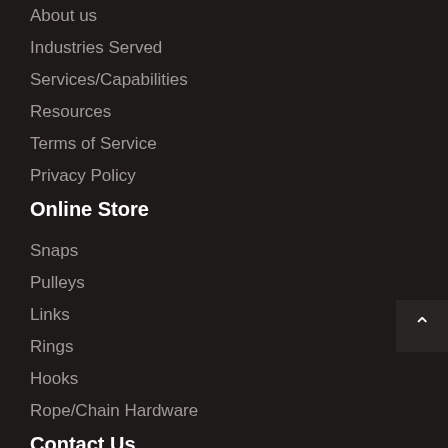About us
Industries Served
Services/Capabilities
Resources
Terms of Service
Privacy Policy
Online Store
Snaps
Pulleys
Links
Rings
Hooks
Rope/Chain Hardware
Contact Us
800-833-9598